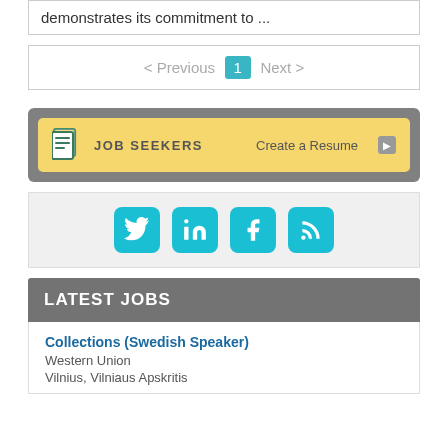demonstrates its commitment to ...
< Previous  1  Next >
[Figure (screenshot): Job Seekers banner with document icon, text JOB SEEKERS and Create a Resume link with arrow, yellow background in grey container]
[Figure (infographic): Social media icons: Twitter, LinkedIn, Facebook, RSS feed in teal/cyan rounded square buttons on light grey background]
LATEST JOBS
Collections (Swedish Speaker)
Western Union
Vilnius, Vilniaus Apskritis